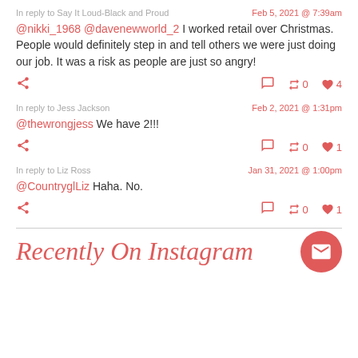In reply to Say It Loud-Black and Proud | Feb 5, 2021 @ 7:39am
@nikki_1968 @davenewworld_2 I worked retail over Christmas. People would definitely step in and tell others we were just doing our job. It was a risk as people are just so angry!
In reply to Jess Jackson | Feb 2, 2021 @ 1:31pm
@thewrongjess We have 2!!!
In reply to Liz Ross | Jan 31, 2021 @ 1:00pm
@CountryglLiz Haha. No.
Recently On Instagram